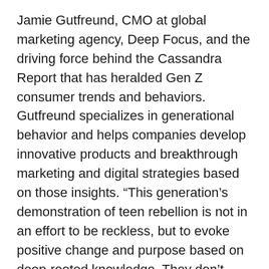Jamie Gutfreund, CMO at global marketing agency, Deep Focus, and the driving force behind the Cassandra Report that has heralded Gen Z consumer trends and behaviors. Gutfreund specializes in generational behavior and helps companies develop innovative products and breakthrough marketing and digital strategies based on those insights. “This generation’s demonstration of teen rebellion is not in an effort to be reckless, but to evoke positive change and purpose based on deep-rooted knowledge. They don’t make the distinction between the physical and digital world. It’s all the same to them.”
Recent survey results from Better Homes and Gardens® Real Estate illuminated that 97 percent of Gen Z teens believe they will own a home in their lifetime and four out of five indicate homeownership is [a important factor in achieving the American]